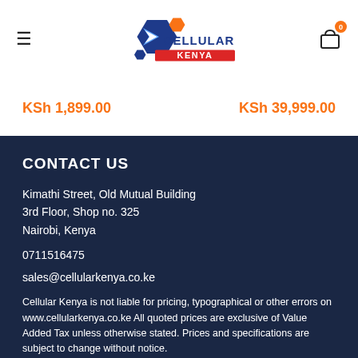Cellular Kenya – header with logo, hamburger menu, cart icon
KSh 1,899.00
KSh 39,999.00
CONTACT US
Kimathi Street, Old Mutual Building
3rd Floor, Shop no. 325
Nairobi, Kenya
0711516475
sales@cellularkenya.co.ke
Cellular Kenya is not liable for pricing, typographical or other errors on www.cellularkenya.co.ke All quoted prices are exclusive of Value Added Tax unless otherwise stated. Prices and specifications are subject to change without notice.